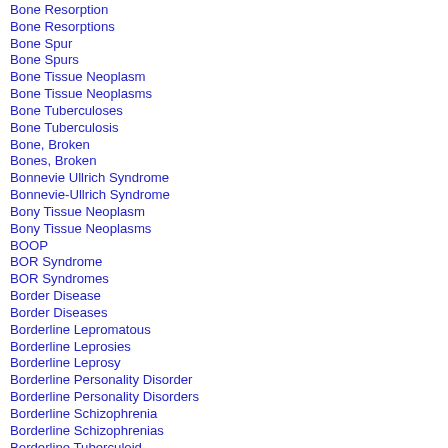Bone Resorption
Bone Resorptions
Bone Spur
Bone Spurs
Bone Tissue Neoplasm
Bone Tissue Neoplasms
Bone Tuberculoses
Bone Tuberculosis
Bone, Broken
Bones, Broken
Bonnevie Ullrich Syndrome
Bonnevie-Ullrich Syndrome
Bony Tissue Neoplasm
Bony Tissue Neoplasms
BOOP
BOR Syndrome
BOR Syndromes
Border Disease
Border Diseases
Borderline Lepromatous
Borderline Leprosies
Borderline Leprosy
Borderline Personality Disorder
Borderline Personality Disorders
Borderline Schizophrenia
Borderline Schizophrenias
Borderline Tuberculoid
Borderline Tuberculoids
Bordetella Infection
Bordetella Infections
Bordetella pertussis Infection, Respiratory
Borna Disease
Borna Disease (partial, cut off)